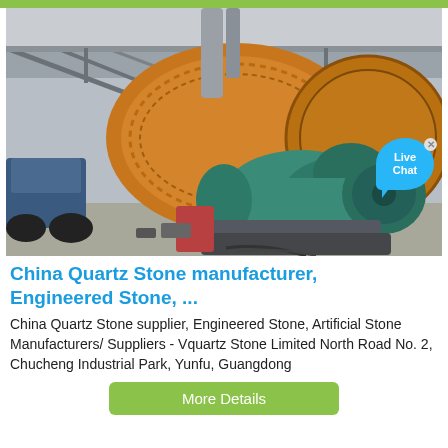[Figure (photo): Industrial ball mill with large orange cylindrical drum and green electric motor, inside a factory building. A blue tractor and various equipment are visible in the background.]
China Quartz Stone manufacturer, Engineered Stone, ...
China Quartz Stone supplier, Engineered Stone, Artificial Stone Manufacturers/ Suppliers - Vquartz Stone Limited North Road No. 2, Chucheng Industrial Park, Yunfu, Guangdong
More Details